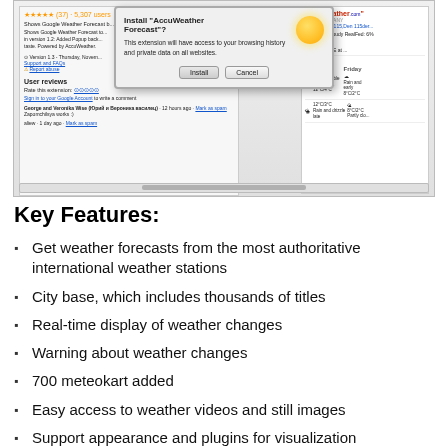[Figure (screenshot): Screenshot of a browser extension installation dialog for AccuWeather Forecast, showing the Chrome Web Store page with user reviews on the left, a dialog box asking 'Install AccuWeather Forecast? This extension will have access to your browsing history and private data on all websites.' with Install and Cancel buttons, and a weather widget on the right showing AccuWeather data for Germany.]
Key Features:
Get weather forecasts from the most authoritative international weather stations
City base, which includes thousands of titles
Real-time display of weather changes
Warning about weather changes
700 meteokart added
Easy access to weather videos and still images
Support appearance and plugins for visualization